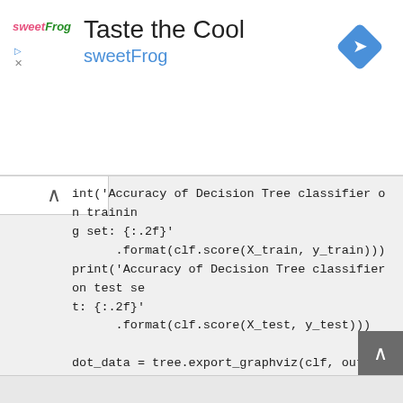[Figure (screenshot): SweetFrog ad banner with logo, title 'Taste the Cool', subtitle 'sweetFrog', navigation diamond icon, play button and X button]
int('Accuracy of Decision Tree classifier on training set: {:.2f}'
      .format(clf.score(X_train, y_train)))
print('Accuracy of Decision Tree classifier on test set: {:.2f}'
      .format(clf.score(X_test, y_test)))

dot_data = tree.export_graphviz(clf, out_file=None,
                      feature_names=iris.feature_names,
                      class_names=iris.target_names,
                      filled=True, rounded=True,
                      special_characters=True)
graph = graphviz.Source(dot_data)
graph